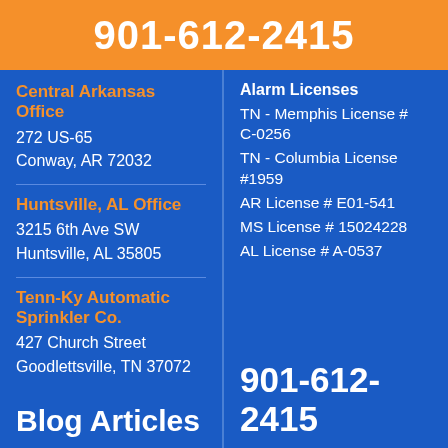901-612-2415
Central Arkansas Office
272 US-65
Conway, AR 72032
Huntsville, AL Office
3215 6th Ave SW
Huntsville, AL 35805
Tenn-Ky Automatic Sprinkler Co.
427 Church Street
Goodlettsville, TN 37072
Alarm Licenses
TN - Memphis License # C-0256
TN - Columbia License #1959
AR License # E01-541
MS License # 15024228
AL License # A-0537
Blog Articles
901-612-2415